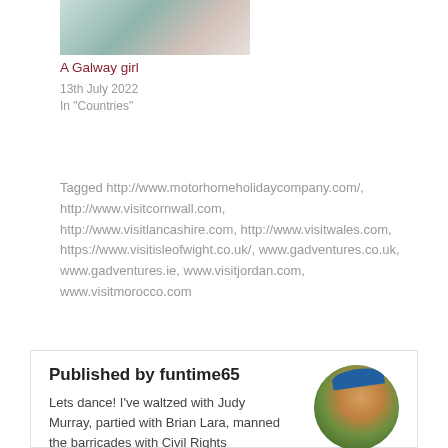[Figure (photo): Partial photo of a room or object, cropped at top]
A Galway girl
13th July 2022
In "Countries"
Tagged http://www.motorhomeholidaycompany.com/, http://www.visitcornwall.com, http://www.visitlancashire.com, http://www.visitwales.com, https://www.visitisleofwight.co.uk/, www.gadventures.co.uk, www.gadventures.ie, www.visitjordan.com, www.visitmorocco.com
Published by funtime65
Lets dance! I've waltzed with Judy Murray, partied with Brian Lara, manned the barricades with Civil Rights...
[Figure (photo): Circular profile photo of a man wearing a blue hat with a decorated green beard]